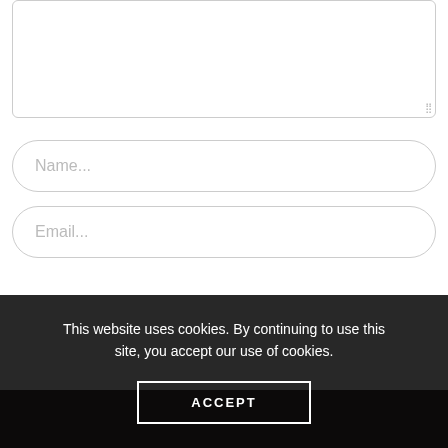[Figure (screenshot): A large textarea input field with a resize handle at bottom-right, partially cropped at top. Below it are two rounded input fields with placeholder text 'Name...' and 'Email...'.]
This website uses cookies. By continuing to use this site, you accept our use of cookies.
ACCEPT